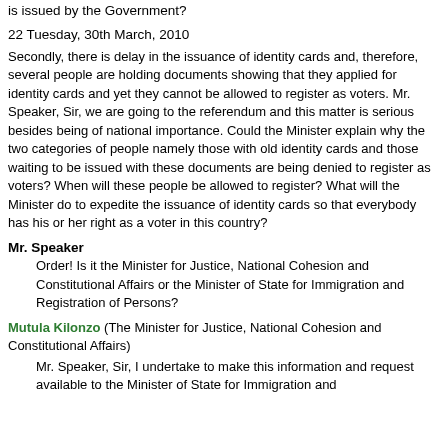is issued by the Government?
22 Tuesday, 30th March, 2010
Secondly, there is delay in the issuance of identity cards and, therefore, several people are holding documents showing that they applied for identity cards and yet they cannot be allowed to register as voters. Mr. Speaker, Sir, we are going to the referendum and this matter is serious besides being of national importance. Could the Minister explain why the two categories of people namely those with old identity cards and those waiting to be issued with these documents are being denied to register as voters? When will these people be allowed to register? What will the Minister do to expedite the issuance of identity cards so that everybody has his or her right as a voter in this country?
Mr. Speaker
Order! Is it the Minister for Justice, National Cohesion and Constitutional Affairs or the Minister of State for Immigration and Registration of Persons?
Mutula Kilonzo (The Minister for Justice, National Cohesion and Constitutional Affairs)
Mr. Speaker, Sir, I undertake to make this information and request available to the Minister of State for Immigration and